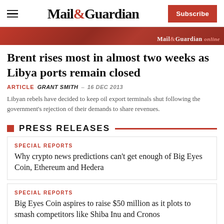Mail&Guardian — Subscribe
[Figure (photo): Red banner hero image with Mail&Guardian online watermark]
Brent rises most in almost two weeks as Libya ports remain closed
ARTICLE  GRANT SMITH  –  16 DEC 2013
Libyan rebels have decided to keep oil export terminals shut following the government's rejection of their demands to share revenues.
PRESS RELEASES
SPECIAL REPORTS
Why crypto news predictions can't get enough of Big Eyes Coin, Ethereum and Hedera
SPECIAL REPORTS
Big Eyes Coin aspires to raise $50 million as it plots to smash competitors like Shiba Inu and Cronos